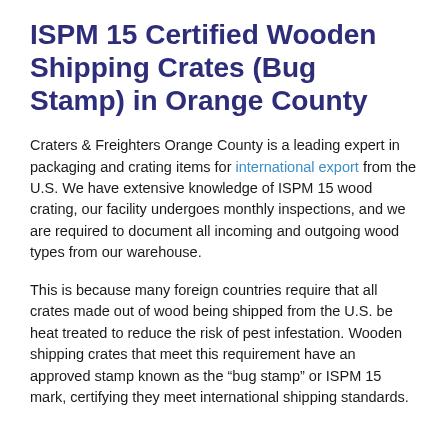ISPM 15 Certified Wooden Shipping Crates (Bug Stamp) in Orange County
Craters & Freighters Orange County is a leading expert in packaging and crating items for international export from the U.S. We have extensive knowledge of ISPM 15 wood crating, our facility undergoes monthly inspections, and we are required to document all incoming and outgoing wood types from our warehouse.
This is because many foreign countries require that all crates made out of wood being shipped from the U.S. be heat treated to reduce the risk of pest infestation. Wooden shipping crates that meet this requirement have an approved stamp known as the “bug stamp” or ISPM 15 mark, certifying they meet international shipping standards.